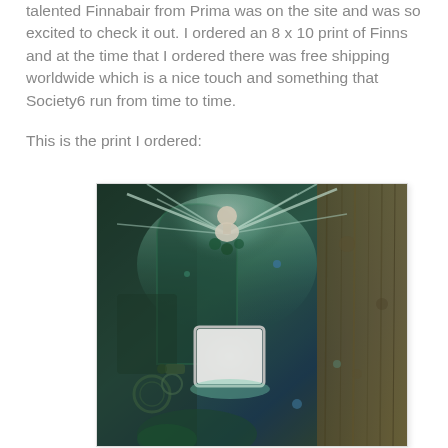talented Finnabair from Prima was on the site and was so excited to check it out. I ordered an 8 x 10 print of Finns and at the time that I ordered there was free shipping worldwide which is a nice touch and something that Society6 run from time to time.

This is the print I ordered:
[Figure (illustration): Mixed media artwork by Finnabair showing a fantasy figure/angel with wings at the top of a textured door or panel, with green and blue tones, gears, and decorative elements. A white rectangular frame/mirror is visible in the center lower area.]